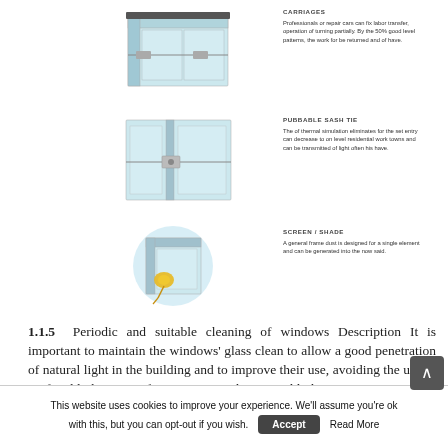[Figure (illustration): Three diagrams of window components: (1) CARRIAGES - window frame cross-section showing carriage mechanism, with annotation text; (2) PUBBABLE SASH TIE - window sash detail with tie mechanism annotation; (3) SCREEN/SHADE - circular detail showing a screen or shade element with yellow component highlighted.]
1.1.5  Periodic and suitable cleaning of windows Description It is important to maintain the windows' glass clean to allow a good penetration of natural light in the building and to improve their use, avoiding the use of artificial light.    Benefits It improves the internal light
This website uses cookies to improve your experience. We'll assume you're ok with this, but you can opt-out if you wish.  Accept  Read More